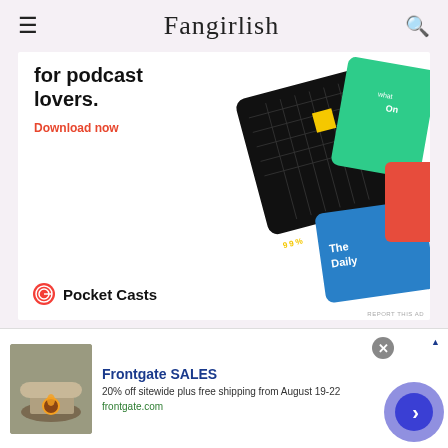Fangirlish
[Figure (infographic): Pocket Casts app advertisement: 'The go-to app for podcast lovers. Download now' with app card graphics showing 99% Invisible and The Daily podcasts. Pocket Casts logo and name shown.]
Fangirlish
infolinks
[Figure (infographic): Frontgate SALES advertisement: '20% off sitewide plus free shipping from August 19-22' with image of outdoor patio furniture with fire pit. frontgate.com URL shown. Close button and arrow navigation button visible.]